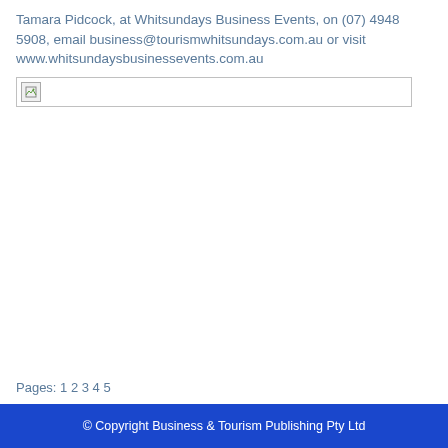Tamara Pidcock, at Whitsundays Business Events, on (07) 4948 5908, email business@tourismwhitsundays.com.au or visit www.whitsundaysbusinessevents.com.au
[Figure (photo): Broken/missing image placeholder with small image icon in top-left corner]
Pages: 1 2 3 4 5
© Copyright Business & Tourism Publishing Pty Ltd